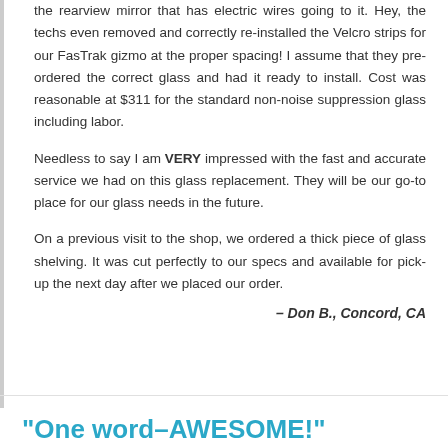the rearview mirror that has electric wires going to it. Hey, the techs even removed and correctly re-installed the Velcro strips for our FasTrak gizmo at the proper spacing! I assume that they pre-ordered the correct glass and had it ready to install. Cost was reasonable at $311 for the standard non-noise suppression glass including labor.
Needless to say I am VERY impressed with the fast and accurate service we had on this glass replacement. They will be our go-to place for our glass needs in the future.
On a previous visit to the shop, we ordered a thick piece of glass shelving. It was cut perfectly to our specs and available for pick-up the next day after we placed our order.
– Don B., Concord, CA
"One word–AWESOME!"